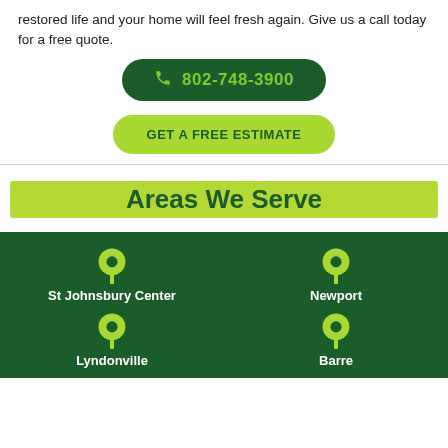restored life and your home will feel fresh again. Give us a call today for a free quote.
[Figure (infographic): Dark green rounded button with phone icon and number 802-748-3900 in lime green text]
[Figure (infographic): Light green rounded button with text GET A FREE ESTIMATE in dark green]
Areas We Serve
St Johnsbury Center
Newport
Lyndonville
Barre